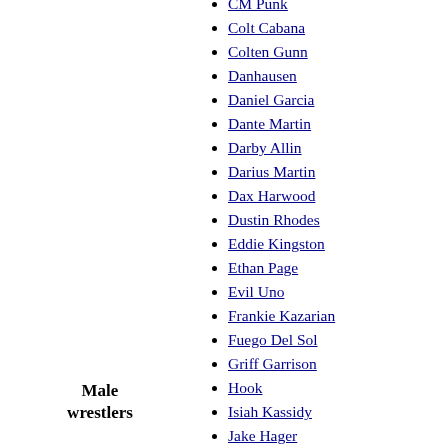CM Punk
Colt Cabana
Colten Gunn
Danhausen
Daniel Garcia
Dante Martin
Darby Allin
Darius Martin
Dax Harwood
Dustin Rhodes
Eddie Kingston
Ethan Page
Evil Uno
Frankie Kazarian
Fuego Del Sol
Griff Garrison
Hook
Isiah Kassidy
Jake Hager
Jay Lethal
Jeff Hardy
John Silver
Jonathan Gresham
Jon Moxley
Jungle Boy
Male wrestlers